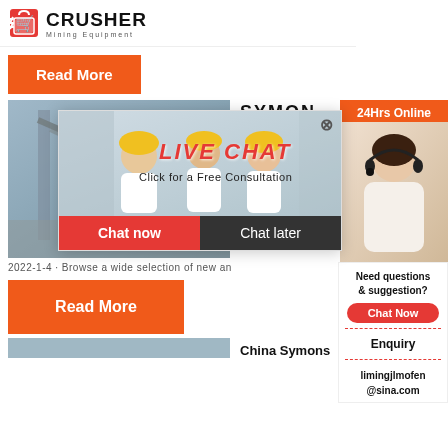[Figure (logo): Crusher Mining Equipment logo with red shopping bag icon and bold CRUSHER text]
[Figure (photo): Orange Read More button]
[Figure (photo): Industrial equipment / mining plant photo on left, workers with yellow hard hats photo with live chat overlay, customer service rep on right sidebar]
SYMON
24Hrs Online
LIVE CHAT
Click for a Free Consultation
Chat now
Chat later
2022-1-4 · Browse a wide selection of new an
[Figure (photo): Orange Read More button second instance]
Need questions & suggestion?
Chat Now
Enquiry
limingjlmofen@sina.com
China Symons